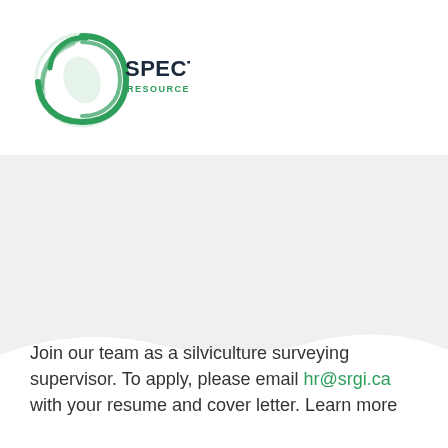[Figure (logo): Spectrum Resource Group Inc logo — circular green swirl graphic with 'SPECTRUM' in dark bold text and 'RESOURCE GROUP INC' in smaller green text below]
[Figure (illustration): Light gray banner/background section with a white wave curve at the bottom, likely containing a background image of a forest or silviculture scene]
Join our team as a silviculture surveying supervisor. To apply, please email hr@srgi.ca with your resume and cover letter. Learn more